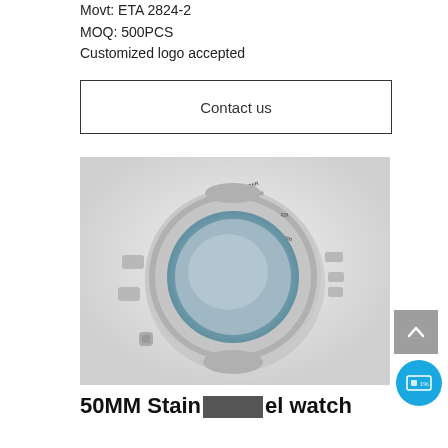Movt: ETA 2824-2
MOQ: 500PCS
Customized logo accepted
Contact us
[Figure (photo): A stainless steel watch case with tachymeter bezel markings (140, 150, 180, 200, 220, 240 etc.), open face showing hollow interior, push-buttons on the side, photographed on white background.]
50MM Stain[redacted]el watch